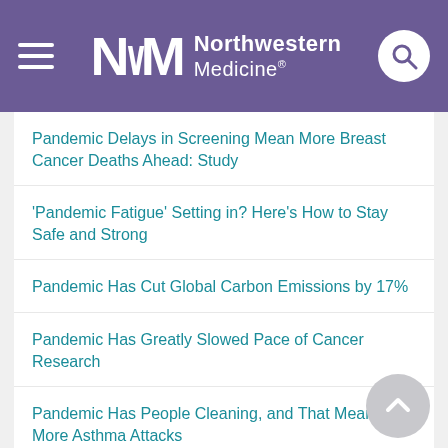Northwestern Medicine
Pandemic Delays in Screening Mean More Breast Cancer Deaths Ahead: Study
'Pandemic Fatigue' Setting in? Here's How to Stay Safe and Strong
Pandemic Has Cut Global Carbon Emissions by 17%
Pandemic Has Greatly Slowed Pace of Cancer Research
Pandemic Has People Cleaning, and That Means More Asthma Attacks
Pandemic Has Stressed Out Doctors
Pandemic Is Devastating Low-Income Black Households